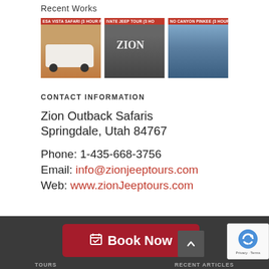Recent Works
[Figure (photo): Three thumbnail images of jeep tour products: Mesa Vista Safari (3 hour), Private Jeep Tour (3 hour), and Grand Canyon Pinkee (3 hour)]
CONTACT INFORMATION
Zion Outback Safaris
Springdale, Utah 84767

Phone: 1-435-668-3756
Email: info@zionjeeptours.com
Web: www.zionJeeptours.com
[Figure (screenshot): Footer bar with Book Now button, up arrow navigation, and reCAPTCHA badge. Bottom nav shows TOURS and RECENT ARTICLES labels.]